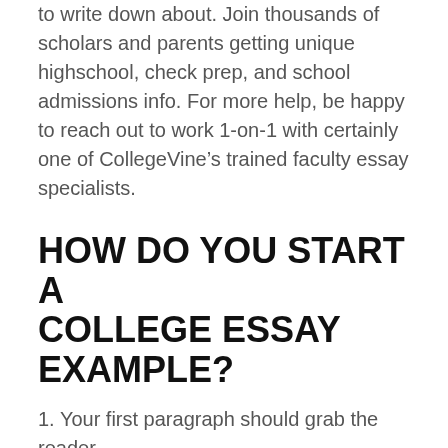to write down about. Join thousands of scholars and parents getting unique highschool, check prep, and school admissions info. For more help, be happy to reach out to work 1-on-1 with certainly one of CollegeVine’s trained faculty essay specialists.
HOW DO YOU START A COLLEGE ESSAY EXAMPLE?
1. Your first paragraph should grab the reader
Try starting with a question.
Begin with a bold statement.
Use an interesting quote.
Put the reader in medias res, that is, in the middle of things.
Challenge the reader by speaking directly to